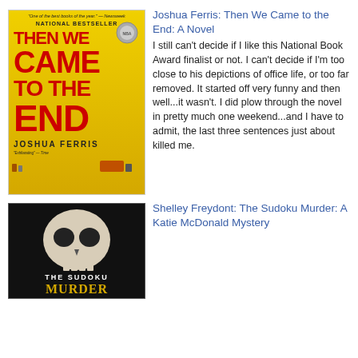[Figure (illustration): Book cover of 'Then We Came to the End' by Joshua Ferris. Yellow background with bold red title text and small figures. National Bestseller badge and medal.]
Joshua Ferris: Then We Came to the End: A Novel
I still can't decide if I like this National Book Award finalist or not. I can't decide if I'm too close to his depictions of office life, or too far removed. It started off very funny and then well...it wasn't. I did plow through the novel in pretty much one weekend...and I have to admit, the last three sentences just about killed me.
[Figure (illustration): Book cover of 'The Sudoku Murder: A Katie McDonald Mystery' by Shelley Freydont. Dark background with a human skull and gold title text at the bottom.]
Shelley Freydont: The Sudoku Murder: A Katie McDonald Mystery